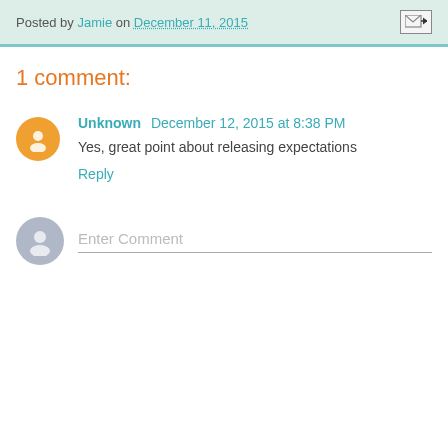Posted by Jamie on December 11, 2015
1 comment:
Unknown December 12, 2015 at 8:38 PM
Yes, great point about releasing expectations
Reply
Enter Comment